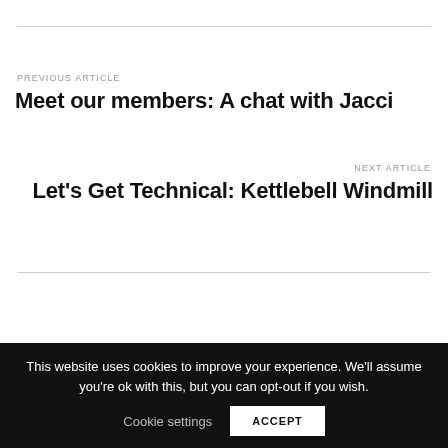PREVIOUS ARTICLE
Meet our members: A chat with Jacci
NEXT ARTICLE
Let's Get Technical: Kettlebell Windmill
This website uses cookies to improve your experience. We'll assume you're ok with this, but you can opt-out if you wish.
Cookie settings
ACCEPT